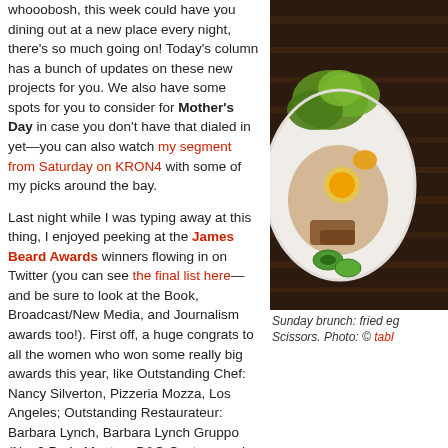whooobosh, this week could have you dining out at a new place every night, there's so much going on! Today's column has a bunch of updates on these new projects for you. We also have some spots for you to consider for Mother's Day in case you don't have that dialed in yet—you can also watch my segment from Saturday on KRON4 with some of my picks around the bay.
[Figure (photo): Sunday brunch dish with fried egg, garnished with cilantro, sliced jalapeño, and other toppings on a white plate, on a dark wood surface.]
Sunday brunch: fried eg... Scissors. Photo: © tabl...
Last night while I was typing away at this thing, I enjoyed peeking at the James Beard Awards winners flowing in on Twitter (you can see the final list here—and be sure to look at the Book, Broadcast/New Media, and Journalism awards too!). First off, a huge congrats to all the women who won some really big awards this year, like Outstanding Chef: Nancy Silverton, Pizzeria Mozza, Los Angeles; Outstanding Restaurateur: Barbara Lynch, Barbara Lynch Gruppo (No. 9 Park, Menton, B&G Oysters, and others), Boston; Best... Christensen, Poole's Downtown Diner; and Best Chef: New York City (Five Borough... Pig. All hail the Goddesses of Food!
Locally, congratulations to Best Chef: West, Daniel Patterson, Coi; Outstanding Res... Francisco; and The Restaurant at Meadowood team for Outstanding Service. Was a... Shed win the Best Restaurant Design award, wow. Congrats to all the nominees as... New York.